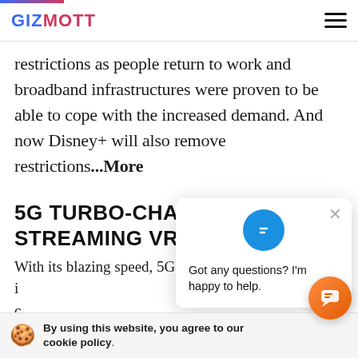GIZMOTT
restrictions as people return to work and broadband infrastructures were proven to be able to cope with the increased demand. And now Disney+ will also remove restrictions...More
5G TURBO-CHARGES STREAMING VR. AR AND VFX
With its blazing speed, 5G wireless technology – is innovations will create new opportunities for content
[Figure (screenshot): Chat popup overlay with icon and message 'Got any questions? I'm happy to help.']
By using this website, you agree to our cookie policy.